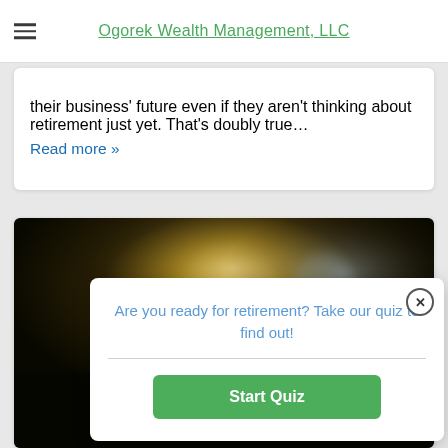Ogorek Wealth Management, LLC
their business' future even if they aren't thinking about retirement just yet. That's doubly true… Read more »
[Figure (photo): Dark blurred background photo with warm light bokeh, appearing to show people or figures in dim lighting]
Are you ready for retirement? Take our quiz to find out!
Start Quiz